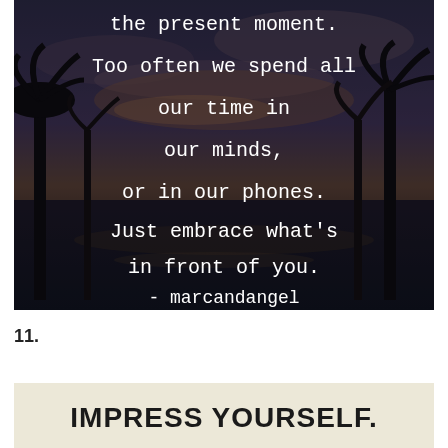[Figure (photo): Dark tropical sunset landscape with palm tree silhouettes reflected in water, overlaid with white typewriter-font quote text reading: 'the present moment. Too often we spend all our time in our minds, or in our phones. Just embrace what's in front of you. - marcandangel']
11.
[Figure (photo): Light beige/cream background with bold uppercase text reading 'IMPRESS YOURSELF.']